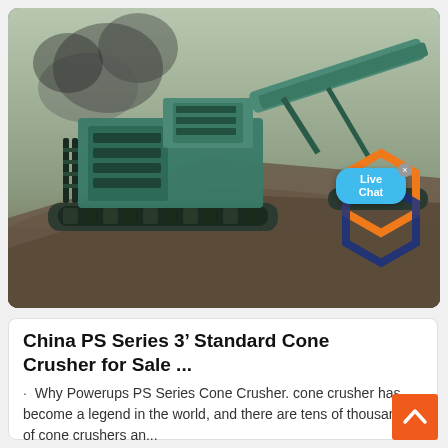[Figure (photo): Large industrial cone crusher machine (teal/green colored) on a gravel mound outdoors, with smoke in background. Overlay shows a 'Live Chat' chat bubble widget with orange hexagon logo and blue geometric shapes.]
China PS Series 3′ Standard Cone Crusher for Sale ...
· Why Powerups PS Series Cone Crusher. cone crusher has become a legend in the world, and there are tens of thousands of cone crushers an...